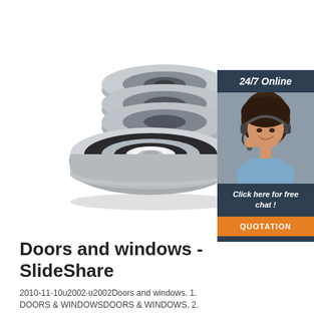[Figure (photo): Stack of four steel ball bearings (sealed/rubber shielded deep groove ball bearings) stacked together on a white background]
[Figure (infographic): Customer support chat widget showing '24/7 Online' header, a woman with headset, 'Click here for free chat!' text, and an orange 'QUOTATION' button, on a dark blue background]
Doors and windows - SlideShare
2010-11-10u2002·u2002Doors and windows. 1. DOORS & WINDOWSDOORS & WINDOWS. 2.